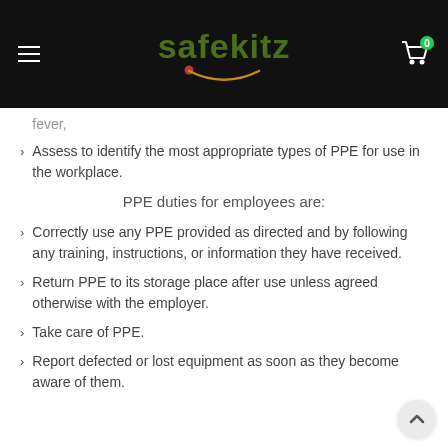safekitz
fever,
Assess to identify the most appropriate types of PPE for use in the workplace.
PPE duties for employees are:
Correctly use any PPE provided as directed and by following any training, instructions, or information they have received.
Return PPE to its storage place after use unless agreed otherwise with the employer.
Take care of PPE.
Report defected or lost equipment as soon as they become aware of them.